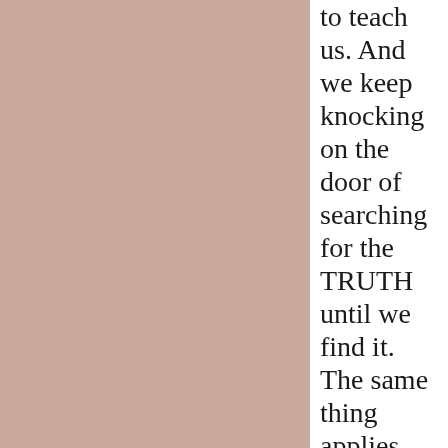to teach us. And we keep knocking on the door of searching for the TRUTH until we find it. The same thing applies when praying for others to